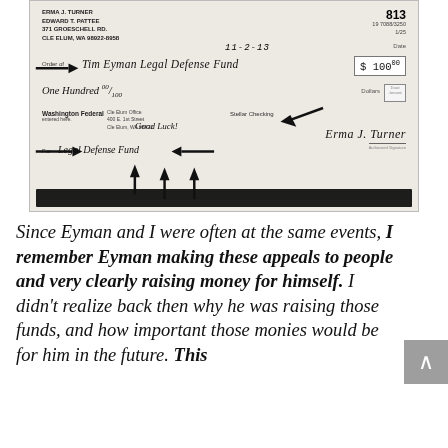[Figure (photo): Photograph of a personal check made out to 'Tim Eyman Legal Defense Fund' for $100.00, dated 11-2-13, from Erma J. Turner / Edward T. Pattee, 371 Groeschell Rd., Cle Elum, WA 98922-8958. Check number 813, drawn on Washington Federal. Memo line reads 'Legal Defense Fund'. Handwritten note says 'Good Luck!'. Signed by Erma J. Turner. Black arrows are drawn on the check image pointing to various parts.]
Since Eyman and I were often at the same events, I remember Eyman making these appeals to people and very clearly raising money for himself. I didn't realize back then why he was raising those funds, and how important those monies would be for him in the future. This